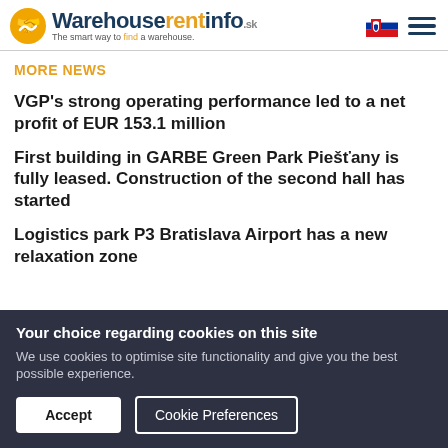Warehouserentinfo.sk — The smart way to find a warehouse.
MORE NEWS
VGP's strong operating performance led to a net profit of EUR 153.1 million
First building in GARBE Green Park Piešťany is fully leased. Construction of the second hall has started
Logistics park P3 Bratislava Airport has a new relaxation zone
Your choice regarding cookies on this site
We use cookies to optimise site functionality and give you the best possible experience.